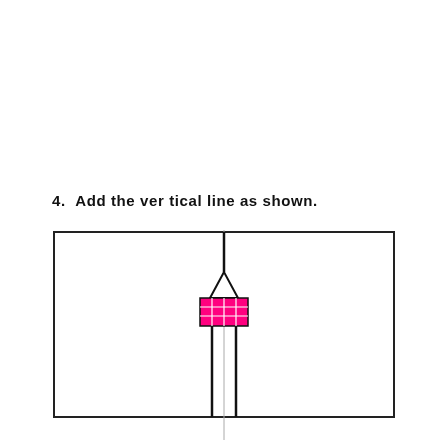4.  Add the vertical line as shown.
[Figure (schematic): A rectangular bordered diagram showing a transistor symbol centered horizontally. A vertical construction line runs from the top edge through the transistor body. The transistor has a pointed top (emitter arrow region), a pink/magenta rectangular body with a grid of cells, and two vertical leads extending downward from the body.]